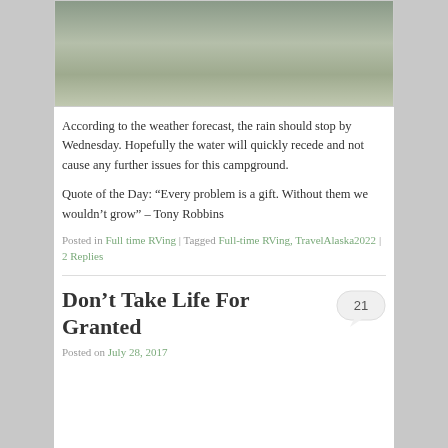[Figure (photo): Partial photo showing a muddy campground area with grass and gravel, motorcycles visible at top]
According to the weather forecast, the rain should stop by Wednesday. Hopefully the water will quickly recede and not cause any further issues for this campground.
Quote of the Day: “Every problem is a gift. Without them we wouldn’t grow” – Tony Robbins
Posted in Full time RVing | Tagged Full-time RVing, TravelAlaska2022 | 2 Replies
Don’t Take Life For Granted
Posted on July 28, 2017